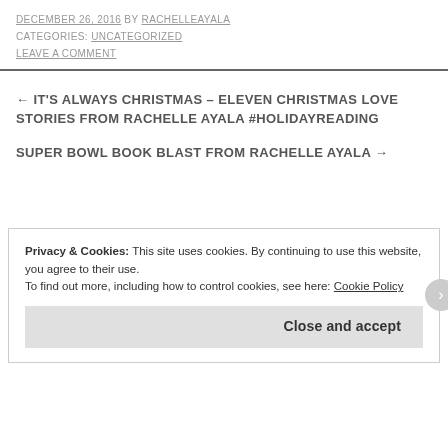DECEMBER 26, 2016 BY RACHELLEAYALA
CATEGORIES: UNCATEGORIZED
LEAVE A COMMENT
← IT'S ALWAYS CHRISTMAS – ELEVEN CHRISTMAS LOVE STORIES FROM RACHELLE AYALA #HOLIDAYREADING
SUPER BOWL BOOK BLAST FROM RACHELLE AYALA →
Privacy & Cookies: This site uses cookies. By continuing to use this website, you agree to their use. To find out more, including how to control cookies, see here: Cookie Policy
Close and accept